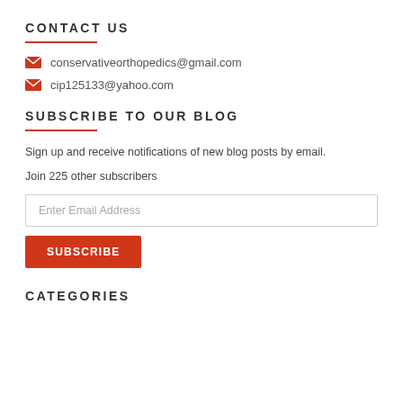CONTACT US
conservativeorthopedics@gmail.com
cip125133@yahoo.com
SUBSCRIBE TO OUR BLOG
Sign up and receive notifications of new blog posts by email.
Join 225 other subscribers
Enter Email Address
SUBSCRIBE
CATEGORIES